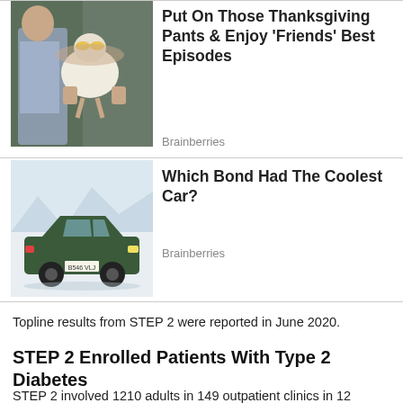[Figure (photo): A person holding a turkey with sunglasses on it, from the TV show Friends]
Put On Those Thanksgiving Pants & Enjoy 'Friends' Best Episodes
Brainberries
[Figure (photo): A dark green vintage Aston Martin sports car on a snowy background]
Which Bond Had The Coolest Car?
Brainberries
Topline results from STEP 2 were reported in June 2020.
STEP 2 Enrolled Patients With Type 2 Diabetes
STEP 2 involved 1210 adults in 149 outpatient clinics in 12 countries in Europe, North America, South America, the